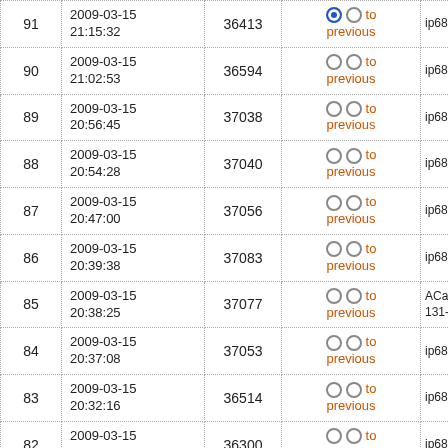| # | Date/Time | ID | Compare | IP |
| --- | --- | --- | --- | --- |
| 91 | 2009-03-15 21:15:32 | 36413 | ● ○ to previous | ip68-0-181-... |
| 90 | 2009-03-15 21:02:53 | 36594 | ○ ○ to previous | ip68-0-181-... |
| 89 | 2009-03-15 20:56:45 | 37038 | ○ ○ to previous | ip68-0-181-... |
| 88 | 2009-03-15 20:54:28 | 37040 | ○ ○ to previous | ip68-0-181-... |
| 87 | 2009-03-15 20:47:00 | 37056 | ○ ○ to previous | ip68-0-181-... |
| 86 | 2009-03-15 20:39:38 | 37083 | ○ ○ to previous | ip68-0-181-... |
| 85 | 2009-03-15 20:38:25 | 37077 | ○ ○ to previous | ACaen-257-131-193... |
| 84 | 2009-03-15 20:37:08 | 37053 | ○ ○ to previous | ip68-0-181-... |
| 83 | 2009-03-15 20:32:16 | 36514 | ○ ○ to previous | ip68-0-181-... |
| 82 | 2009-03-15 20:26:05 | 36300 | ○ ○ to previous | ip68-0-181-... |
| 81 | 2009-03-15 20:24:27 | 36295 | ○ ○ to previous | ip68-0-181-... |